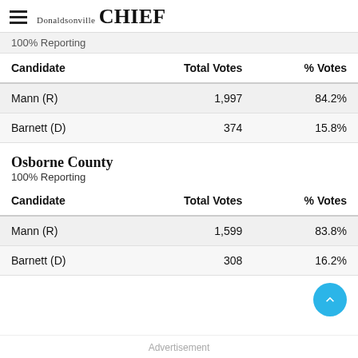Donaldsonville CHIEF
100% Reporting
| Candidate | Total Votes | % Votes |
| --- | --- | --- |
| Mann (R) | 1,997 | 84.2% |
| Barnett (D) | 374 | 15.8% |
Osborne County
100% Reporting
| Candidate | Total Votes | % Votes |
| --- | --- | --- |
| Mann (R) | 1,599 | 83.8% |
| Barnett (D) | 308 | 16.2% |
Advertisement